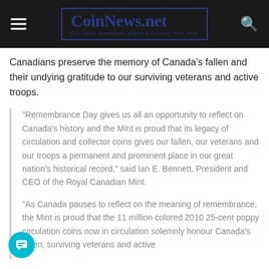CoinNews.net — Coin News, Numismatic Articles & Collector Price Tools
Canadians preserve the memory of Canada's fallen and their undying gratitude to our surviving veterans and active troops.
"Remembrance Day gives us all an opportunity to reflect on Canada's history and the Mint is proud that its legacy of circulation and collector coins gives our fallen, our veterans and our troops a permanent and prominent place in our great nation's historical record," said Ian E. Bennett, President and CEO of the Royal Canadian Mint.
"As Canada pauses to reflect on the meaning of remembrance, the Mint is proud that the 11 million colored 2010 25-cent poppy circulation coins now in circulation solemnly honour Canada's fallen, surviving veterans and active troops."